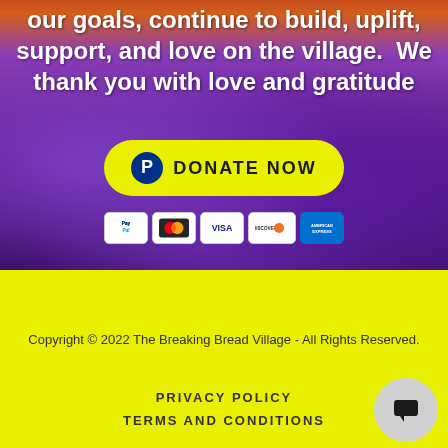our goals, continue to build, uplift, support, and love on the village.  We thank you with love and gratitude
[Figure (other): Yellow donate button with PayPal logo and text DONATE NOW]
[Figure (other): Row of payment method icons: PayPal, Mastercard, VISA, Discover, American Express]
Copyright © 2022 The Breaking Bread Village - All Rights Reserved.
PRIVACY POLICY
TERMS AND CONDITIONS